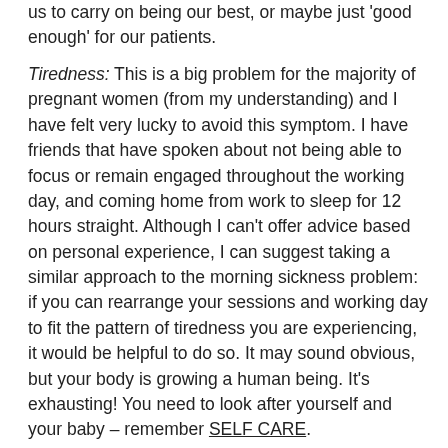us to carry on being our best, or maybe just 'good enough' for our patients.
Tiredness: This is a big problem for the majority of pregnant women (from my understanding) and I have felt very lucky to avoid this symptom. I have friends that have spoken about not being able to focus or remain engaged throughout the working day, and coming home from work to sleep for 12 hours straight. Although I can't offer advice based on personal experience, I can suggest taking a similar approach to the morning sickness problem: if you can rearrange your sessions and working day to fit the pattern of tiredness you are experiencing, it would be helpful to do so. It may sound obvious, but your body is growing a human being. It's exhausting! You need to look after yourself and your baby – remember SELF CARE.